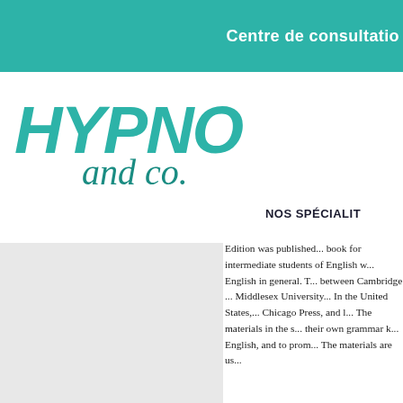Centre de consultatio
[Figure (logo): HYPNO and co. logo in teal/cyan italic bold font]
NOS SPÉCIALIT
Edition was published... book for intermediate students of English w... English in general. T... between Cambridge ... Middlesex University... In the United States,... Chicago Press, and l... The materials in the s... their own grammar k... English, and to prom... The materials are us...